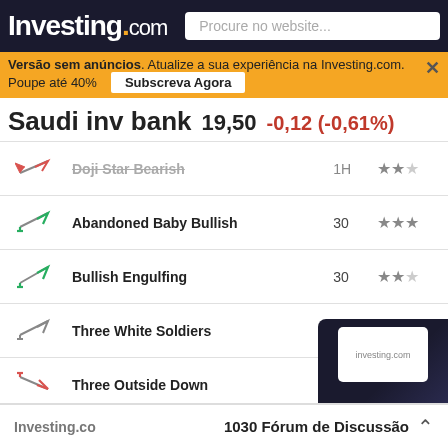Investing.com | Procure no website...
Versão sem anúncios. Atualize a sua experiência na Investing.com. Poupe até 40% | Subscreva Agora
Saudi inv bank  19,50  -0,12 (-0,61%)
| Icon | Pattern | Timeframe | Stars |
| --- | --- | --- | --- |
| ↘ bearish | Doji Star Bearish | 1H | ★★☆ |
| ↗ bullish | Abandoned Baby Bullish | 30 | ★★★ |
| ↗ bullish | Bullish Engulfing | 30 | ★★☆ |
| ↗ neutral | Three White Soldiers | 1M | ★★★ |
| ↘ bearish | Three Outside Down | 1W | ★★★ |
| ↗ bullish | Bullish doji Star | 30 | ★★☆ |
1030 Fórum de Discussão